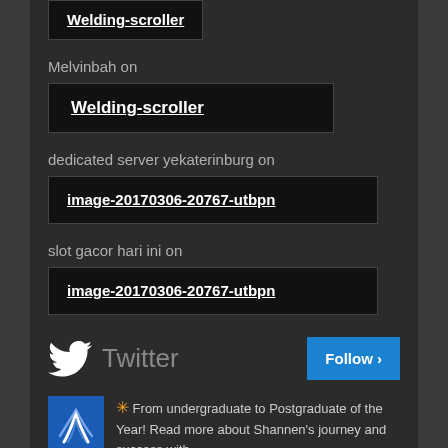[Figure (screenshot): A dark-themed website comment/sidebar section showing user links and a Twitter follow widget]
Welding-scroller
Melvinbah on
Welding-scroller
dedicated server yekaterinburg on
image-20170306-20767-utbpn
slot gacor hari ini on
image-20170306-20767-utbpn
Twitter Follow
✳ From undergraduate to Postgraduate of the Year! Read more about Shannen's journey and success with